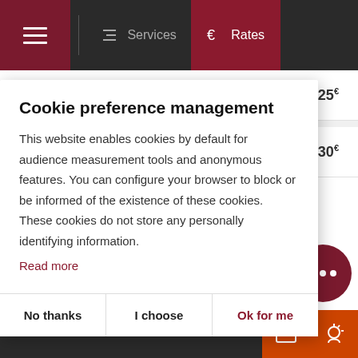Navigation bar with hamburger menu, Services, and Rates
A la carte — From 9€ to 25€
Menu price — From 15€ to 30€
Cookie preference management
This website enables cookies by default for audience measurement tools and anonymous features. You can configure your browser to block or be informed of the existence of these cookies. These cookies do not store any personally identifying information.
Read more
No thanks
I choose
Ok for me